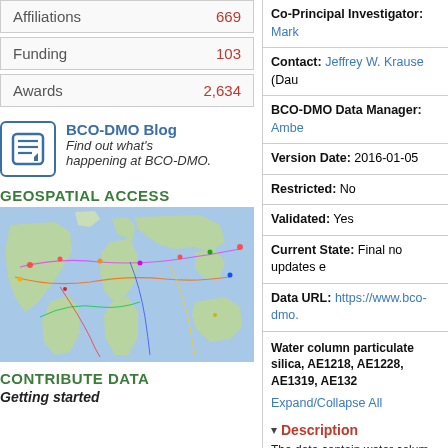| Category | Count |
| --- | --- |
| Affiliations | 669 |
| Funding | 103 |
| Awards | 2,634 |
[Figure (logo): BCO-DMO Blog icon with lines/document symbol]
BCO-DMO Blog Find out what's happening at BCO-DMO.
GEOSPATIAL ACCESS
[Figure (map): World map showing geospatial data access with colored cruise tracks and markers]
CONTRIBUTE DATA
Getting started
Co-Principal Investigator: Mark
Contact: Jeffrey W. Krause (Dau
BCO-DMO Data Manager: Ambe
Version Date: 2016-01-05
Restricted: No
Validated: Yes
Current State: Final no updates e
Data URL: https://www.bco-dmo.
Water column particulate silica, AE1218, AE1228, AE1319, AE132
Expand/Collapse All
Description
The data contain water colum